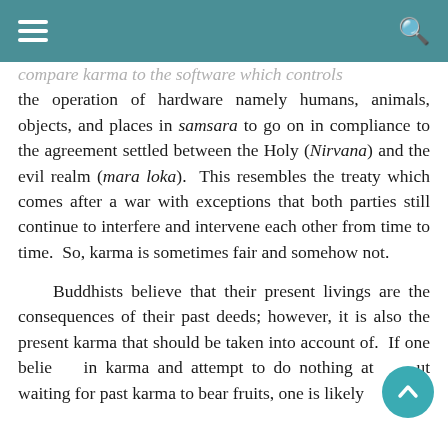☰  🔍
compare karma to the software which controls the operation of hardware namely humans, animals, objects, and places in samsara to go on in compliance to the agreement settled between the Holy (Nirvana) and the evil realm (mara loka). This resembles the treaty which comes after a war with exceptions that both parties still continue to interfere and intervene each other from time to time. So, karma is sometimes fair and somehow not.

Buddhists believe that their present livings are the consequences of their past deeds; however, it is also the present karma that should be taken into account of. If one believes in karma and attempt to do nothing at all but waiting for past karma to bear fruits, one is likely